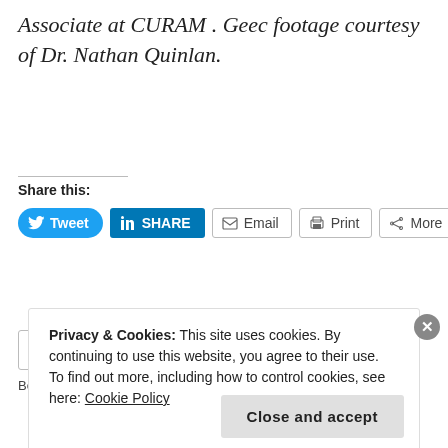Associate at CURAM . Geec footage courtesy of Dr. Nathan Quinlan.
Share this:
[Figure (screenshot): Social sharing buttons: Tweet, Share (LinkedIn), Email, Print, More]
[Figure (screenshot): Like button with star icon]
Be the first to like this.
Privacy & Cookies: This site uses cookies. By continuing to use this website, you agree to their use.
To find out more, including how to control cookies, see here: Cookie Policy
Close and accept